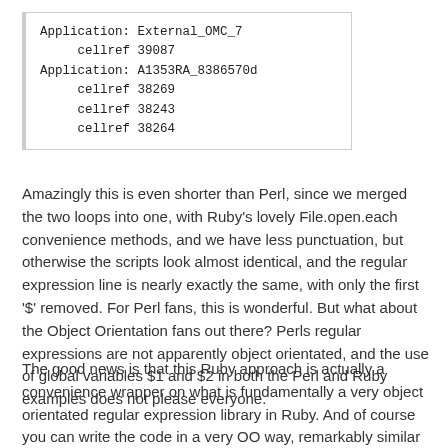[Figure (screenshot): Code block showing application and cellref output lines in monospace font with left border]
Amazingly this is even shorter than Perl, since we merged the two loops into one, with Ruby's lovely File.open.each convenience methods, and we have less punctuation, but otherwise the scripts look almost identical, and the regular expression line is nearly exactly the same, with only the first '$' removed. For Perl fans, this is wonderful. But what about the Object Orientation fans out there? Perls regular expressions are not apparently object orientated, and the use of global variables $1 and $2 in both the Perl and Ruby examples does not please everyone.
The good news is that this Ruby approach is actually a convenience wrapper on what is fundamentally a very object orientated regular expression library in Ruby. And of course you can write the code in a very OO way, remarkably similar to Java. Consider the following Java example: